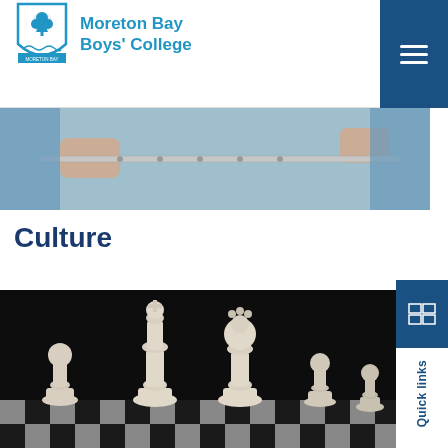Moreton Bay Boys' College
[Figure (photo): Close-up of student playing flute in a blue shirt, school band photo]
Culture
[Figure (photo): White chess pieces (king, queen, bishop, pawns) standing on a black and white chess board against a dark background]